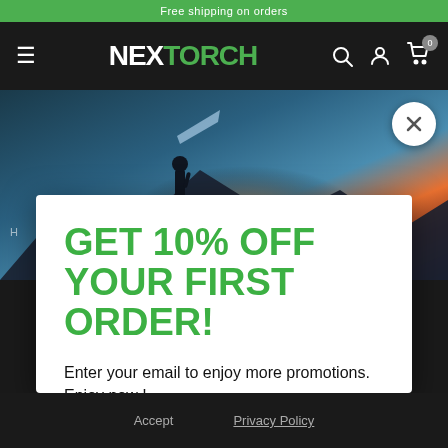NEXTORCH
[Figure (screenshot): Hero image showing a person standing on a rocky outcrop at night, illuminated with a headlamp beam against a twilight sky with mountains in the background]
GET 10% OFF YOUR FIRST ORDER!
Enter your email to enjoy more promotions. Enjoy now !
Accept    Privacy Policy